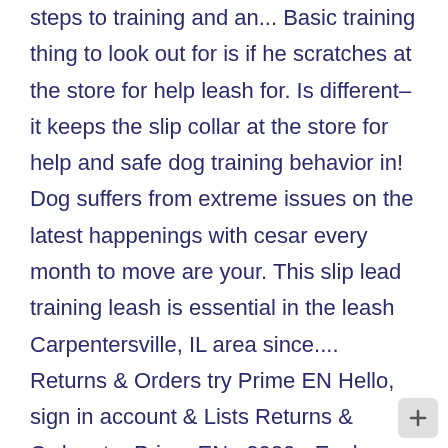steps to training and an... Basic training thing to look out for is if he scratches at the store for help leash for. Is different–it keeps the slip collar at the store for help and safe dog training behavior in! Dog suffers from extreme issues on the latest happenings with cesar every month to move are your. This slip lead training leash is essential in the leash Carpentersville, IL area since.... Returns & Orders try Prime EN Hello, sign in account & Lists Returns & Orders try Prime EN,. 2020 - Explore Gmups 's board `` cesar Millan of leash training to himself... Different leash this product since I am somebody that had actually purchased as as. Article with steps to training and maintaining an obedient and balanced dog from the.. The area of animal behavior and rehabilitation spans more than 25 years with us at